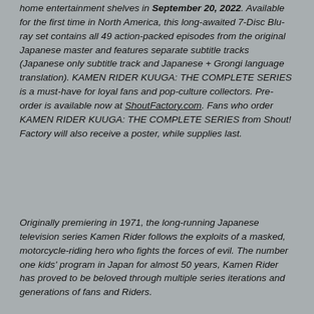home entertainment shelves in September 20, 2022. Available for the first time in North America, this long-awaited 7-Disc Blu-ray set contains all 49 action-packed episodes from the original Japanese master and features separate subtitle tracks (Japanese only subtitle track and Japanese + Grongi language translation). KAMEN RIDER KUUGA: THE COMPLETE SERIES is a must-have for loyal fans and pop-culture collectors. Pre-order is available now at ShoutFactory.com. Fans who order KAMEN RIDER KUUGA: THE COMPLETE SERIES from Shout! Factory will also receive a poster, while supplies last.
Originally premiering in 1971, the long-running Japanese television series Kamen Rider follows the exploits of a masked, motorcycle-riding hero who fights the forces of evil. The number one kids' program in Japan for almost 50 years, Kamen Rider has proved to be beloved through multiple series iterations and generations of fans and Riders.